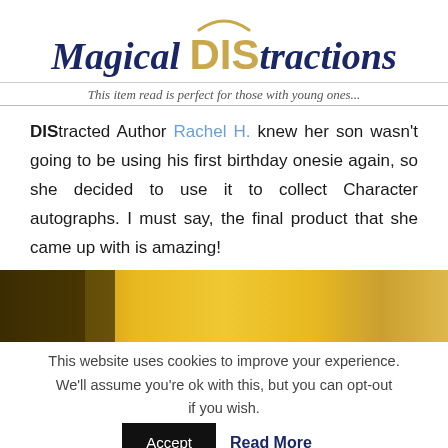[Figure (logo): Magical DIStractions logo with arc shape above, star accent, 'Magical' in dark navy italic script, 'DIS' in gold bold sans-serif, 'tractions' in dark navy italic script]
This item read is perfect for those with young ones...
DIStracted Author Rachel H. knew her son wasn't going to be using his first birthday onesie again, so she decided to use it to collect Character autographs. I must say, the final product that she came up with is amazing!
[Figure (photo): Partial photo showing a yellow/gold surface with dark objects on the left side, likely a framed or boxed item]
This website uses cookies to improve your experience. We'll assume you're ok with this, but you can opt-out if you wish.
Accept
Read More